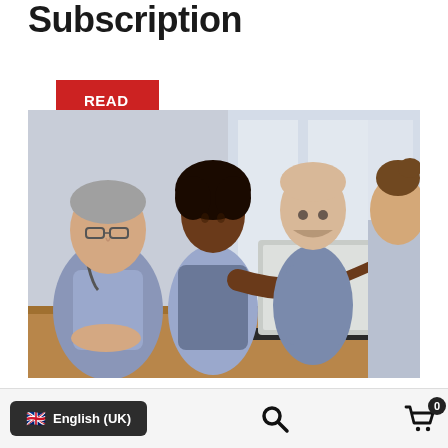Subscription
READ MORE
[Figure (photo): Four medical professionals in scrubs/white coats gathered around a laptop, one pointing at the screen]
Principles of Child Neurology in
English (UK) [search icon] [cart icon with badge 0]